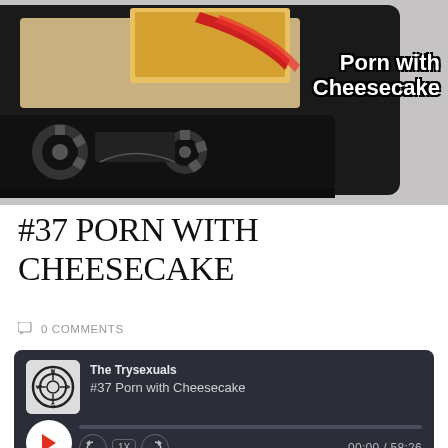[Figure (photo): VHS cassette tape photograph with 'Porn with Cheesecake' text overlay in white bold font with black outline, against a grey background]
#37 PORN WITH CHEESECAKE
0 COMMENTS
[Figure (screenshot): Podcast audio player widget with dark background showing 'The Trysexuals' podcast, episode '#37 Porn with Cheesecake', with play button, progress bar, playback controls (skip back 10, 1X speed, skip forward 30), time display 00:00 / 58:26, SUBSCRIBE and SHARE buttons]
Download file | Play in new window | Duration: 58:26